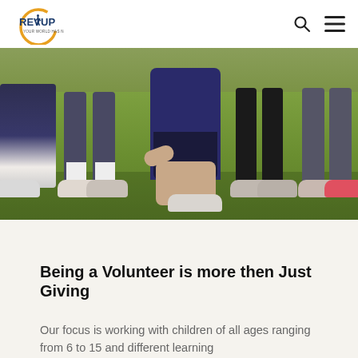REV UP
[Figure (photo): Outdoor photo showing legs and feet of multiple people kneeling and standing on green grass, wearing athletic shoes. One person in navy blue shirt and shorts is kneeling on one knee in the center foreground.]
Being a Volunteer is more then Just Giving
Our focus is working with children of all ages ranging from 6 to 15 and different learning